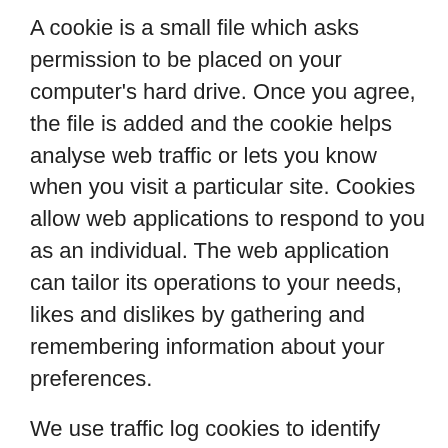A cookie is a small file which asks permission to be placed on your computer's hard drive. Once you agree, the file is added and the cookie helps analyse web traffic or lets you know when you visit a particular site. Cookies allow web applications to respond to you as an individual. The web application can tailor its operations to your needs, likes and dislikes by gathering and remembering information about your preferences.
We use traffic log cookies to identify which pages are being used. This helps us analyse data about web page traffic and improve our website in order to tailor it to customer needs. We only use this information for statistical analysis purposes and then the data is removed from the system.
Overall, cookies help us provide you with a better website, by enabling us to monitor which pages you find useful and which you do not. A cookie in no way gives us access to your computer or any information about you, other than the data you choose to share with us. You can choose to accept or decline cookies. Most web browsers automatically accept